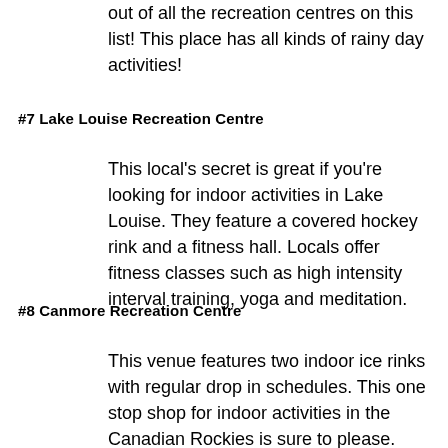out of all the recreation centres on this list! This place has all kinds of rainy day activities!
#7 Lake Louise Recreation Centre
This local's secret is great if you're looking for indoor activities in Lake Louise. They feature a covered hockey rink and a fitness hall. Locals offer fitness classes such as high intensity interval training, yoga and meditation.
#8 Canmore Recreation Centre
This venue features two indoor ice rinks with regular drop in schedules. This one stop shop for indoor activities in the Canadian Rockies is sure to please. The Canmore Recreation Centre also offers a drop-in gymnastics area and a walking track for seniors. The Canmore Curling